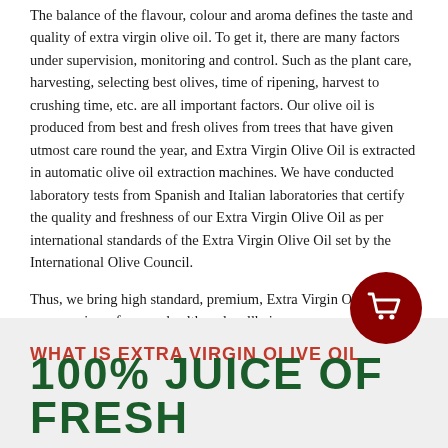The balance of the flavour, colour and aroma defines the taste and quality of extra virgin olive oil. To get it, there are many factors under supervision, monitoring and control. Such as the plant care, harvesting, selecting best olives, time of ripening, harvest to crushing time, etc. are all important factors. Our olive oil is produced from best and fresh olives from trees that have given utmost care round the year, and Extra Virgin Olive Oil is extracted in automatic olive oil extraction machines. We have conducted laboratory tests from Spanish and Italian laboratories that certify the quality and freshness of our Extra Virgin Olive Oil as per international standards of the Extra Virgin Olive Oil set by the International Olive Council.
Thus, we bring high standard, premium, Extra Virgin Olive Oil to your servings, for your health and wellbeing.
[Figure (illustration): Dark red circular shopping cart icon button]
WHAT IS EXTRA VIRGIN OLIVE OIL
100% JUICE OF FRESH